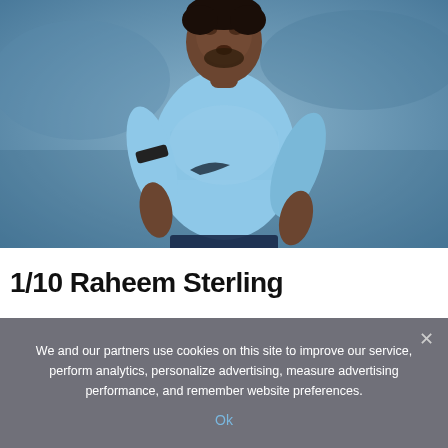[Figure (photo): Raheem Sterling in a light blue Manchester City Etihad Airways kit, running/jogging on the pitch, with a blurred stadium background.]
1/10 Raheem Sterling
We and our partners use cookies on this site to improve our service, perform analytics, personalize advertising, measure advertising performance, and remember website preferences.
Ok